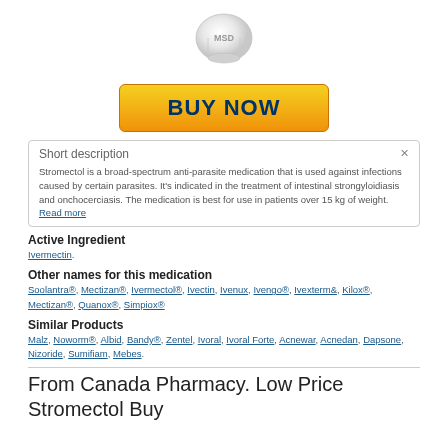[Figure (illustration): White round pill/tablet with 'MSD' embossed on top, viewed from above on white background]
[Figure (other): Yellow/orange gradient 'BUY NOW' button]
Short description
Stromectol is a broad-spectrum anti-parasite medication that is used against infections caused by certain parasites. It's indicated in the treatment of intestinal strongyloidiasis and onchocerciasis. The medication is best for use in patients over 15 kg of weight. Read more
Active Ingredient
Ivermectin.
Other names for this medication
Soolantra®, Mectizan®, Ivermectol®, Ivectin, Ivenux, Ivengo®, Ivexterm&, Kilox®, Mectizan®, Quanox®, Simpiox®
Similar Products
Malz, Noworm®, Albid, Bandy®, Zentel, Ivoral, Ivoral Forte, Acnewar, Acnedan, Dapsone, Nizoride, Sumifiam, Mebes.
From Canada Pharmacy. Low Price Stromectol Buy